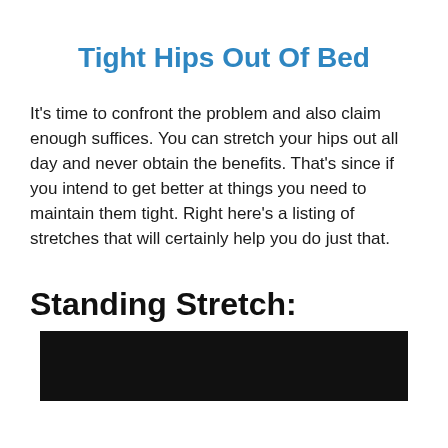Tight Hips Out Of Bed
It's time to confront the problem and also claim enough suffices. You can stretch your hips out all day and never obtain the benefits. That's since if you intend to get better at things you need to maintain them tight. Right here's a listing of stretches that will certainly help you do just that.
Standing Stretch:
[Figure (photo): Photo of a person performing a standing stretch exercise, shown against a dark background.]